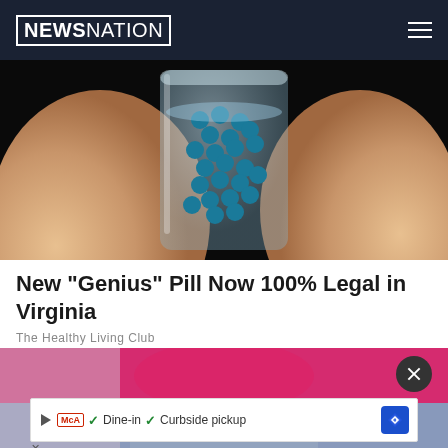NEWSNATION
[Figure (photo): Close-up photo of hands holding a glass container filled with blue pill-like beads/spheres]
New "Genius" Pill Now 100% Legal in Virginia
The Healthy Living Club
[Figure (photo): Photo of a person wearing a pink/magenta shirt and light blue jeans, torso visible]
✓ Dine-in  ✓ Curbside pickup